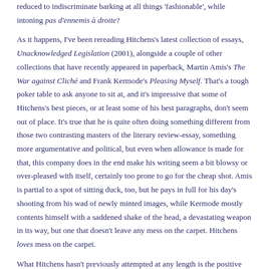reduced to indiscriminate barking at all things 'fashionable', while intoning pas d'ennemis à droite?

As it happens, I've been rereading Hitchens's latest collection of essays, Unacknowledged Legislation (2001), alongside a couple of other collections that have recently appeared in paperback, Martin Amis's The War against Cliché and Frank Kermode's Pleasing Myself. That's a tough poker table to ask anyone to sit at, and it's impressive that some of Hitchens's best pieces, or at least some of his best paragraphs, don't seem out of place. It's true that he is quite often doing something different from those two contrasting masters of the literary review-essay, something more argumentative and political, but even when allowance is made for that, this company does in the end make his writing seem a bit blowsy or over-pleased with itself, certainly too prone to go for the cheap shot. Amis is partial to a spot of sitting duck, too, but he pays in full for his day's shooting from his wad of newly minted images, while Kermode mostly contents himself with a saddened shake of the head, a devastating weapon in its way, but one that doesn't leave any mess on the carpet. Hitchens loves mess on the carpet.

What Hitchens hasn't previously attempted at any length is the positive tribute